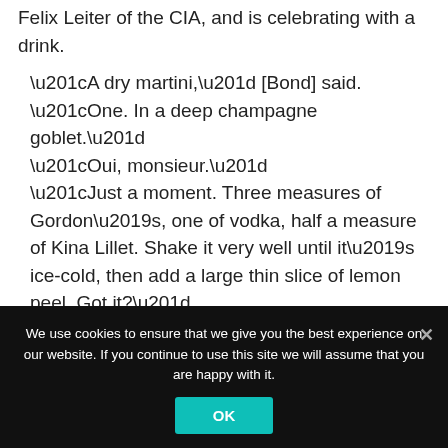Felix Leiter of the CIA, and is celebrating with a drink.
“A dry martini,” [Bond] said. “One. In a deep champagne goblet.”
“Oui, monsieur.”
“Just a moment. Three measures of Gordon’s, one of vodka, half a measure of Kina Lillet. Shake it very well until it’s ice-cold, then add a large thin slice of lemon peel. Got it?”
“Certainly, monsieur.” The barman seemed pleased with the idea.
We use cookies to ensure that we give you the best experience on our website. If you continue to use this site we will assume that you are happy with it.